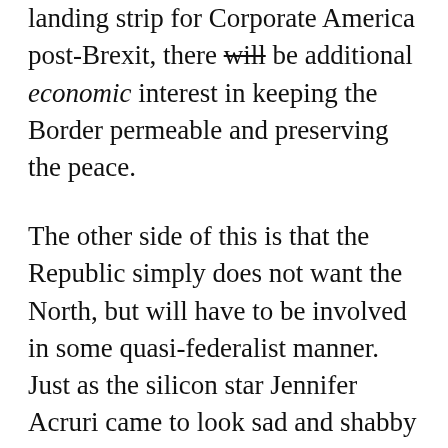landing strip for Corporate America post-Brexit, there will be additional economic interest in keeping the Border permeable and preserving the peace.
The other side of this is that the Republic simply does not want the North, but will have to be involved in some quasi-federalist manner. Just as the silicon star Jennifer Acruri came to look sad and shabby bemoaning her lost love with Johnson in the tabloids, so loyalism has to come to deal with the reality that their ardour is a one way street and the potential paramour down the road isn't keen either. In fact the green and orange Ulster face off, be-scarred snout to snout, plays in a shrinking pool which few attend. Time, perhaps, to talk chlorinated Turkey? For now, vain folly heaps like the homeless on the streets of